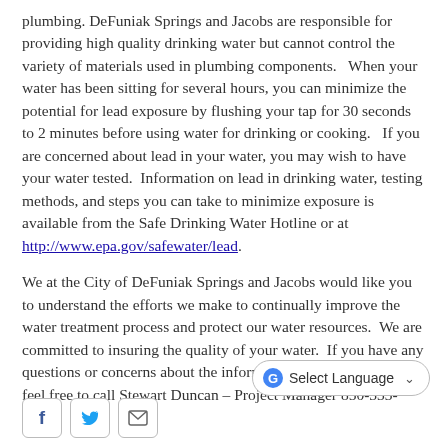plumbing. DeFuniak Springs and Jacobs are responsible for providing high quality drinking water but cannot control the variety of materials used in plumbing components. When your water has been sitting for several hours, you can minimize the potential for lead exposure by flushing your tap for 30 seconds to 2 minutes before using water for drinking or cooking. If you are concerned about lead in your water, you may wish to have your water tested. Information on lead in drinking water, testing methods, and steps you can take to minimize exposure is available from the Safe Drinking Water Hotline or at http://www.epa.gov/safewater/lead.
We at the City of DeFuniak Springs and Jacobs would like you to understand the efforts we make to continually improve the water treatment process and protect our water resources. We are committed to insuring the quality of your water. If you have any questions or concerns about the information provided, please feel free to call Stewart Duncan – Project Manager 850-333-7394.